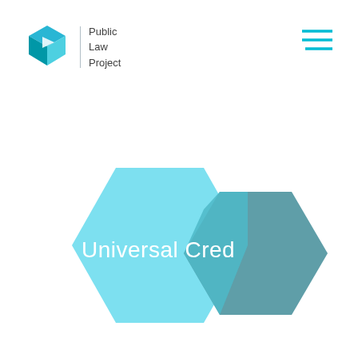[Figure (logo): Public Law Project logo: a 3D teal cube icon followed by a vertical divider and the text 'Public Law Project' in dark grey]
[Figure (other): Hamburger menu icon made of three horizontal teal lines in the top right corner]
[Figure (illustration): Two overlapping hexagons: a large light cyan/sky blue hexagon on the left and a smaller steel blue hexagon on the right, overlapping to create a darker teal intersection area. The text 'Universal Cred' (partially visible) appears in white across the hexagons.]